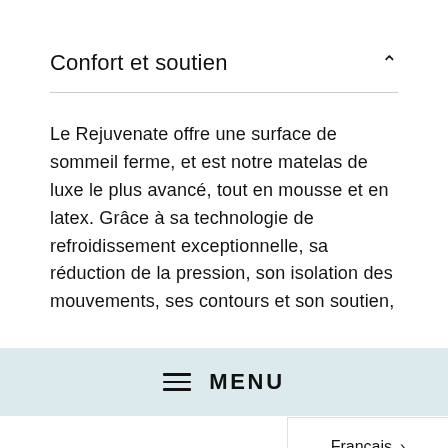Confort et soutien
Le Rejuvenate offre une surface de sommeil ferme, et est notre matelas de luxe le plus avancé, tout en mousse et en latex. Grâce à sa technologie de refroidissement exceptionnelle, sa réduction de la pression, son isolation des mouvements, ses contours et son soutien,
≡ MENU
Français >